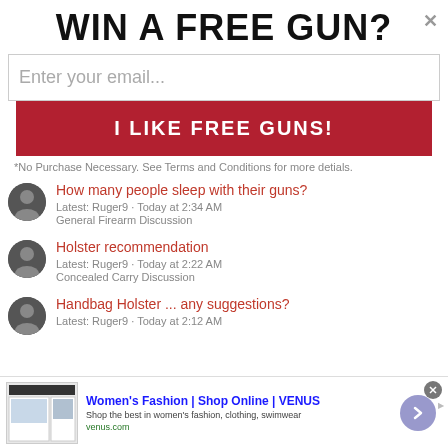WIN A FREE GUN?
Enter your email...
I LIKE FREE GUNS!
*No Purchase Necessary. See Terms and Conditions for more detials.
How many people sleep with their guns?
Latest: Ruger9 · Today at 2:34 AM
General Firearm Discussion
Holster recommendation
Latest: Ruger9 · Today at 2:22 AM
Concealed Carry Discussion
Handbag Holster ... any suggestions?
Latest: Ruger9 · Today at 2:12 AM
[Figure (screenshot): Bottom ad banner: Women's Fashion | Shop Online | VENUS - venus.com]